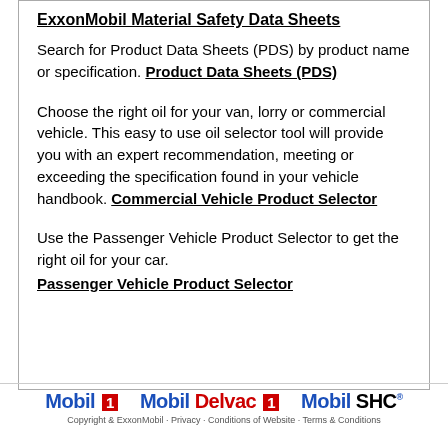ExxonMobil Material Safety Data Sheets
Search for Product Data Sheets (PDS) by product name or specification. Product Data Sheets (PDS)
Choose the right oil for your van, lorry or commercial vehicle. This easy to use oil selector tool will provide you with an expert recommendation, meeting or exceeding the specification found in your vehicle handbook. Commercial Vehicle Product Selector
Use the Passenger Vehicle Product Selector to get the right oil for your car. Passenger Vehicle Product Selector
[Figure (logo): Mobil 1, Mobil Delvac 1, and Mobil SHC logos in blue and red]